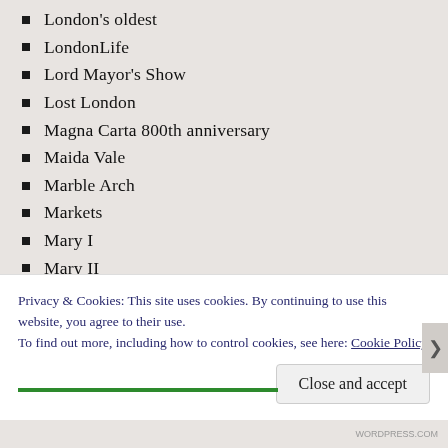London's oldest
LondonLife
Lord Mayor's Show
Lost London
Magna Carta 800th anniversary
Maida Vale
Marble Arch
Markets
Mary I
Mary II
Marylebone
Mayfair
Mayors of London
Medieval
Privacy & Cookies: This site uses cookies. By continuing to use this website, you agree to their use.
To find out more, including how to control cookies, see here: Cookie Policy
WORDPRESS.COM